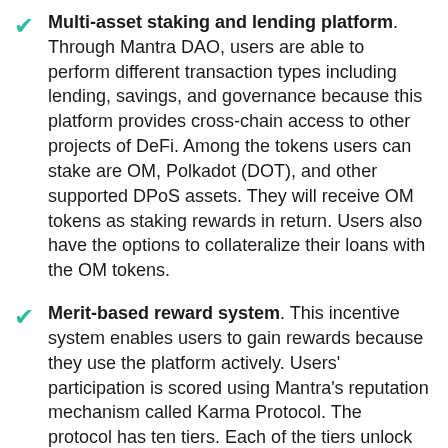Multi-asset staking and lending platform. Through Mantra DAO, users are able to perform different transaction types including lending, savings, and governance because this platform provides cross-chain access to other projects of DeFi. Among the tokens users can stake are OM, Polkadot (DOT), and other supported DPoS assets. They will receive OM tokens as staking rewards in return. Users also have the options to collateralize their loans with the OM tokens.
Merit-based reward system. This incentive system enables users to gain rewards because they use the platform actively. Users' participation is scored using Mantra's reputation mechanism called Karma Protocol. The protocol has ten tiers. Each of the tiers unlock various perks that let users to get additional incentives to increase their OM token, gain more rewards, reduce fees, and more.